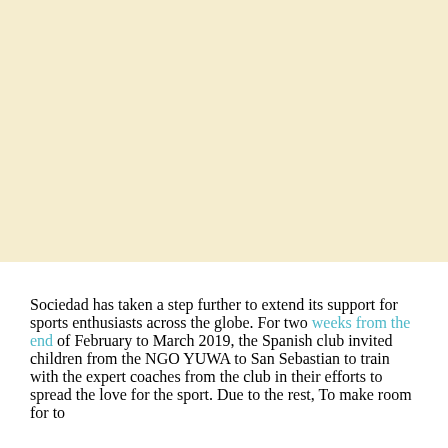[Figure (photo): Large image area with a warm cream/beige background, occupying the top portion of the page.]
Sociedad has taken a step further to extend its support for sports enthusiasts across the globe. For two weeks from the end of February to March 2019, the Spanish club invited children from the NGO YUWA to San Sebastian to train with the expert coaches from the club in their efforts to spread the love for the sport. Due to the rest, To make room for to